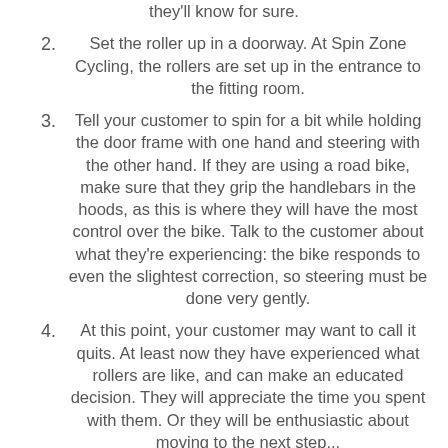they'll know for sure.
2. Set the roller up in a doorway. At Spin Zone Cycling, the rollers are set up in the entrance to the fitting room.
3. Tell your customer to spin for a bit while holding the door frame with one hand and steering with the other hand. If they are using a road bike, make sure that they grip the handlebars in the hoods, as this is where they will have the most control over the bike. Talk to the customer about what they're experiencing: the bike responds to even the slightest correction, so steering must be done very gently.
4. At this point, your customer may want to call it quits. At least now they have experienced what rollers are like, and can make an educated decision. They will appreciate the time you spent with them. Or they will be enthusiastic about moving to the next step...
5. Once they have a feel for the steering, have them get